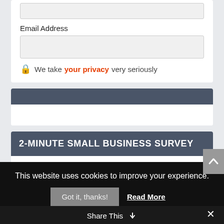Email Address
We take your privacy very seriously
2-MINUTE SMALL BUSINESS SURVEY
Quick & anonymous survey to help us provide more of what you need in your business.
TAKE SMALL BIZ SURVEY
This website uses cookies to improve your experience.
Got it, thanks!
Read More
Share This